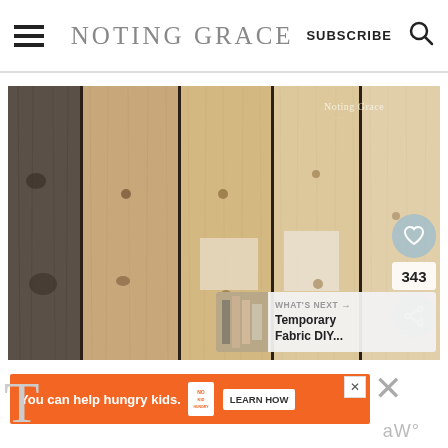NOTING GRACE — SUBSCRIBE
[Figure (photo): Close-up photograph of vertical wood planks in varying shades from dark weathered gray on left to light natural pine on right, with visible wood grain and knots. Watermark 'Noting Grace' in upper right. Social buttons (heart, share) and count badge '343' on right side. 'WHAT'S NEXT → Temporary Fabric DIY...' overlay in lower right.]
[Figure (screenshot): Advertisement banner: orange background with text 'You can help hungry kids.' No Kid Hungry logo, and 'LEARN HOW' button. Close X button top right of ad.]